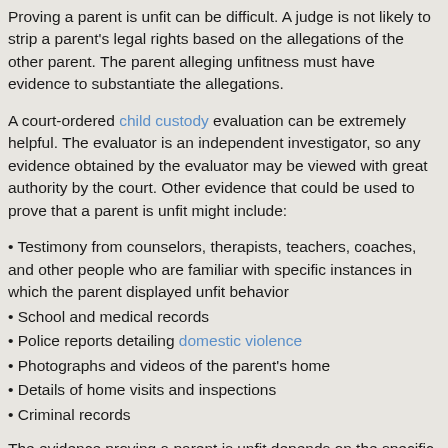Proving a parent is unfit can be difficult. A judge is not likely to strip a parent's legal rights based on the allegations of the other parent. The parent alleging unfitness must have evidence to substantiate the allegations.
A court-ordered child custody evaluation can be extremely helpful. The evaluator is an independent investigator, so any evidence obtained by the evaluator may be viewed with great authority by the court. Other evidence that could be used to prove that a parent is unfit might include:
Testimony from counselors, therapists, teachers, coaches, and other people who are familiar with specific instances in which the parent displayed unfit behavior
School and medical records
Police reports detailing domestic violence
Photographs and videos of the parent's home
Details of home visits and inspections
Criminal records
The evidence proving a parent is unfit depends on the specific allegations made against the parent. A child custody lawyer with experience handling these types of custody cases will guide the parent